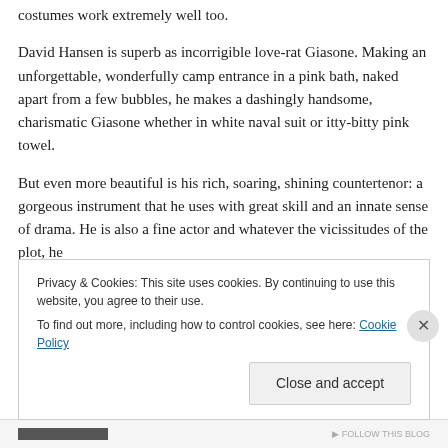costumes work extremely well too.
David Hansen is superb as incorrigible love-rat Giasone. Making an unforgettable, wonderfully camp entrance in a pink bath, naked apart from a few bubbles, he makes a dashingly handsome, charismatic Giasone whether in white naval suit or itty-bitty pink towel.
But even more beautiful is his rich, soaring, shining countertenor: a gorgeous instrument that he uses with great skill and an innate sense of drama. He is also a fine actor and whatever the vicissitudes of the plot, he
Privacy & Cookies: This site uses cookies. By continuing to use this website, you agree to their use.
To find out more, including how to control cookies, see here: Cookie Policy
Close and accept